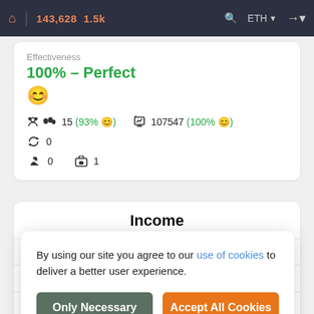143,628  1.5k   ETH
Effectiveness
100% - Perfect
😊
15(93% 😊)   107547(100% 😊)   0
0   1
Income
Da
W
M
APR  4%
By using our site you agree to our use of cookies to deliver a better user experience.
Only Necessary
Accept All Cookies